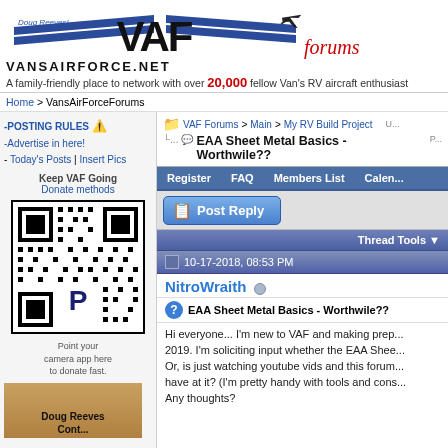VAF VANSAIRFORCE.NET forums - A family-friendly place to network with over 20,000 fellow Van's RV aircraft enthusiasts
Home > VansAirForceForums
-POSTING RULES ⚠ -Advertise in here! - Today's Posts | Insert Pics
Keep VAF Going Donate methods
[Figure (other): QR code for donations with PayPal logo]
Point your camera app here to donate fast.
[Figure (photo): Photo of Doug Reeves with caption]
VAF Forums > Main > My RV Build Project
EAA Sheet Metal Basics - Worthwile??
Register  FAQ  Members List  Calen...
Post Reply
Thread Tools
10-17-2018, 08:53 PM
NitroWraith
EAA Sheet Metal Basics - Worthwile??
Hi everyone... I'm new to VAF and making prep... 2019. I'm soliciting input whether the EAA Shee... Or, is just watching youtube vids and this forum... have at it? (I'm pretty handy with tools and cons... Any thoughts?